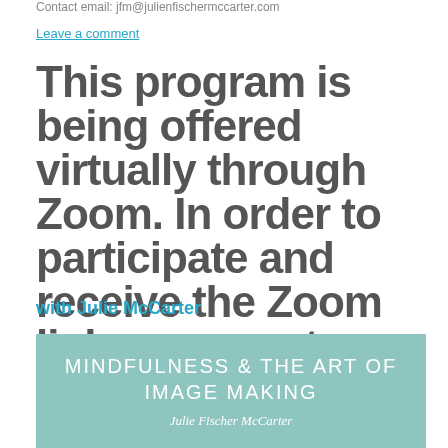Contact email: jfm@julienfischermccarter.com
Leave a comment
This program is being offered virtually through Zoom. In order to participate and receive the Zoom link, you must register here or by emailing carla@smithcenter.org
with Julie McCarter
[Figure (illustration): Book cover with teal/mint background showing title 'MINDFULNESS & THE ART OF IMAGE MAKING' in white uppercase letters and author name 'Julie Fischer McCarter' in white italic below]